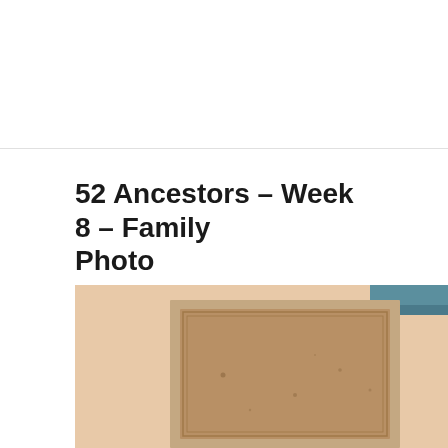52 Ancestors – Week 8 – Family Photo
FEBRUARY 27, 2019  /  1 COMMENT
[Figure (photo): An old photograph in a brown/tan mount or album, partially visible. The photo shows a faded, aged image on brown paper/card stock with a decorative border frame. Top right corner shows a hint of teal/blue background.]